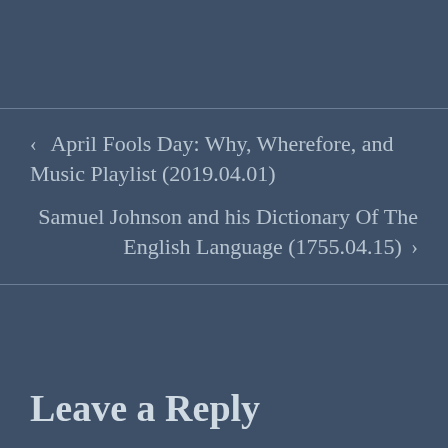‹  April Fools Day: Why, Wherefore, and Music Playlist (2019.04.01)
Samuel Johnson and his Dictionary Of The English Language (1755.04.15) ›
Leave a Reply